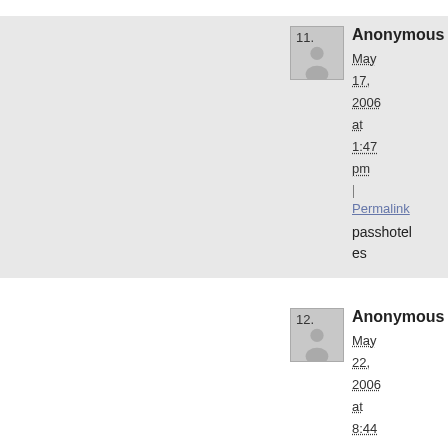11. Anonymous — May 17, 2006 at 1:47 pm | Permalink — passhoteles
12. Anonymous — May 22, 2006 at 8:44 am | Permalink